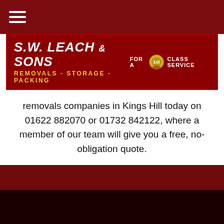[Figure (logo): S.W. Leach & Sons Removals - Storage - Packing logo banner with 1st class service badge]
removals companies in Kings Hill today on 01622 882070 or 01732 842122, where a member of our team will give you a free, no-obligation quote.
[Figure (screenshot): Dark red section and partial second logo banner with review popup showing 5 Star Rating by Scott S. dated 08/21/22]